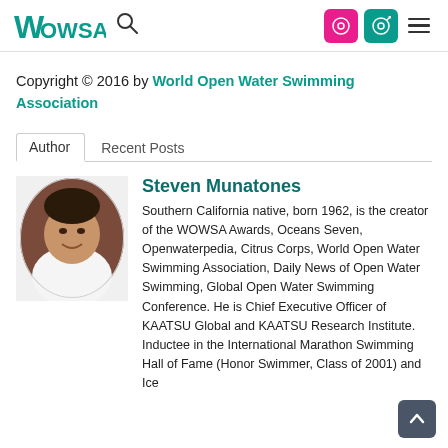WOWSA logo, search icon, login icons, menu
Copyright © 2016 by World Open Water Swimming Association
Author | Recent Posts (tabs)
[Figure (photo): Oval portrait photo of Steven Munatones, a man in a white shirt smiling against a dark background]
Steven Munatones
Southern California native, born 1962, is the creator of the WOWSA Awards, Oceans Seven, Openwaterpedia, Citrus Corps, World Open Water Swimming Association, Daily News of Open Water Swimming, Global Open Water Swimming Conference. He is Chief Executive Officer of KAATSU Global and KAATSU Research Institute. Inductee in the International Marathon Swimming Hall of Fame (Honor Swimmer, Class of 2001) and Ice